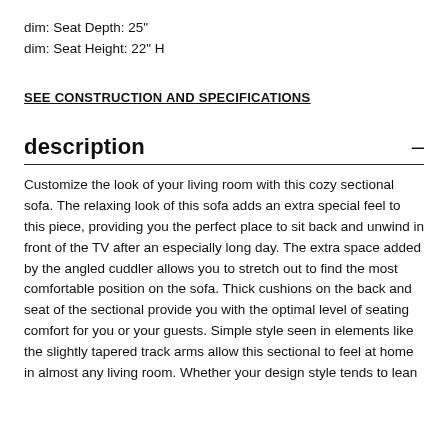dim: Seat Depth: 25"
dim: Seat Height: 22" H
SEE CONSTRUCTION AND SPECIFICATIONS
description
Customize the look of your living room with this cozy sectional sofa. The relaxing look of this sofa adds an extra special feel to this piece, providing you the perfect place to sit back and unwind in front of the TV after an especially long day. The extra space added by the angled cuddler allows you to stretch out to find the most comfortable position on the sofa. Thick cushions on the back and seat of the sectional provide you with the optimal level of seating comfort for you or your guests. Simple style seen in elements like the slightly tapered track arms allow this sectional to feel at home in almost any living room. Whether your design style tends to lean